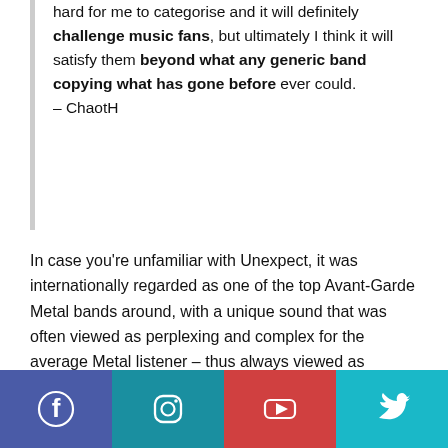hard for me to categorise and it will definitely challenge music fans, but ultimately I think it will satisfy them beyond what any generic band copying what has gone before ever could. – ChaotH
In case you're unfamiliar with Unexpect, it was internationally regarded as one of the top Avant-Garde Metal bands around, with a unique sound that was often viewed as perplexing and complex for the average Metal listener – thus always viewed as eclectic. ChaotH's monster 9-string Bass work was at the core of that band, with a multitude of high speed technical basslines using techniques like slapping, tapping and regular finger-style.
[Figure (other): Social media footer bar with four icons: Facebook (purple-blue), Instagram (teal), YouTube (red), Twitter (cyan)]